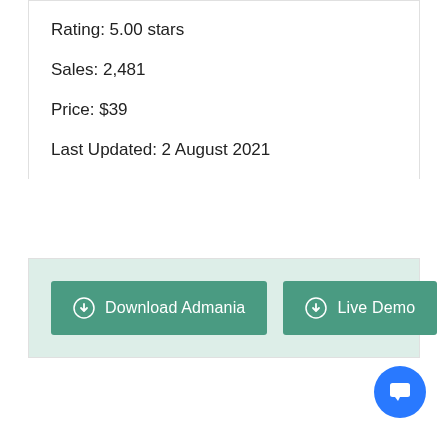Rating: 5.00 stars
Sales: 2,481
Price: $39
Last Updated: 2 August 2021
Download Admania
Live Demo
[Figure (illustration): Blue circular chat/message bubble icon button in bottom-right corner]